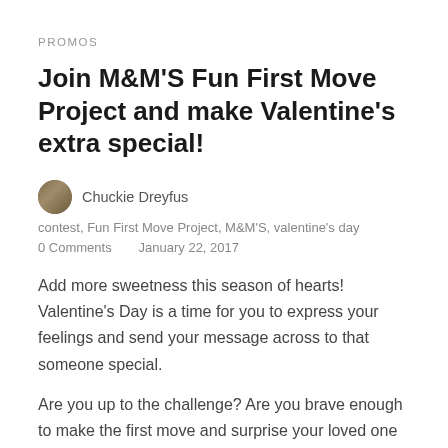PROMOS
Join M&M'S Fun First Move Project and make Valentine's extra special!
Chuckie Dreyfus
contest, Fun First Move Project, M&M'S, valentine's day
0 Comments    January 22, 2017
Add more sweetness this season of hearts! Valentine's Day is a time for you to express your feelings and send your message across to that someone special.
Are you up to the challenge? Are you brave enough to make the first move and surprise your loved one by showing how truly special he or she is? Perhaps, you're finally ready to reveal yourself to your secret crush. Or how about making your partner fall in love with you all over